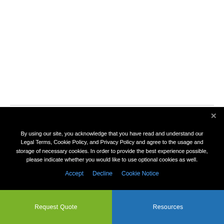By using our site, you acknowledge that you have read and understand our Legal Terms, Cookie Policy, and Privacy Policy and agree to the usage and storage of necessary cookies. In order to provide the best experience possible, please indicate whether you would like to use optional cookies as well.
Accept   Decline   Cookie Notice
Request Quote
Resources